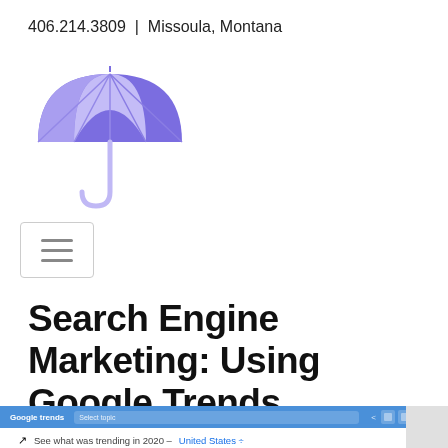406.214.3809  |  Missoula, Montana
[Figure (logo): Purple umbrella logo icon with lavender and medium purple coloring, with a thin handle below.]
[Figure (other): Hamburger menu icon (three horizontal lines) inside a light grey bordered box.]
Search Engine Marketing: Using Google Trends
[Figure (screenshot): Screenshot of Google Trends browser interface showing a blue address/nav bar with 'Google trends' logo and a search field. Below is text: 'See what was trending in 2020 – United States ÷']